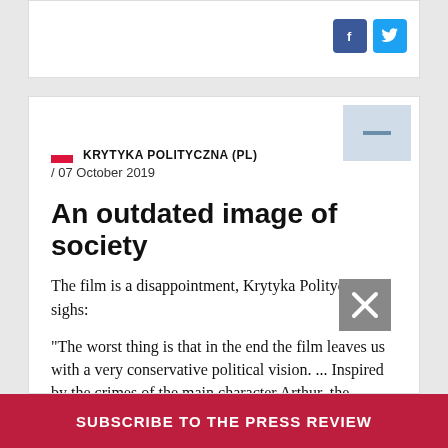[Figure (screenshot): Top card with Facebook and Twitter social share buttons on a white card background]
KRYTYKA POLITYCZNA (PL) / 07 October 2019
An outdated image of society
The film is a disappointment, Krytyka Polityczna sighs:
“The worst thing is that in the end the film leaves us with a very conservative political vision. ... Inspired by the crimes of the main character Arthur, the inhabitants of Gotham become a mindless mob in the throes of an orgy
SUBSCRIBE TO THE PRESS REVIEW